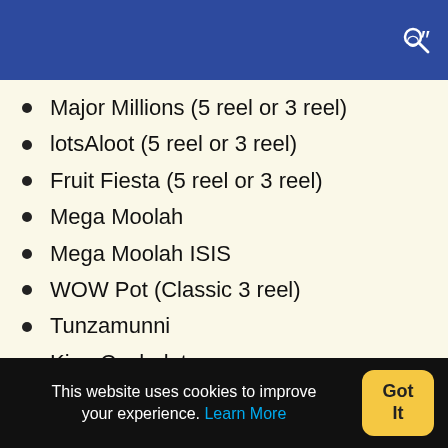Major Millions (5 reel or 3 reel)
lotsAloot (5 reel or 3 reel)
Fruit Fiesta (5 reel or 3 reel)
Mega Moolah
Mega Moolah ISIS
WOW Pot (Classic 3 reel)
Tunzamunni
King Cashalot
Treasure Nile
This website uses cookies to improve your experience. Learn More  Got It